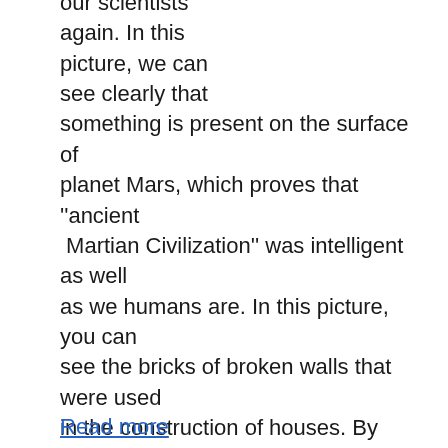our scientists again. In this picture, we can see clearly that something is present on the surface of planet Mars, which proves that ''ancient  Martian Civilization'' was intelligent as well as we humans are. In this picture, you can see the bricks of broken walls that were used in the construction of houses. By adding some kind of cement with those bricks, they had made their homes on Mars, just like we humans make bricks built home here on earth today. You can see those similar pieces of bricks that have been found on mars that we use here on earth.
Read more